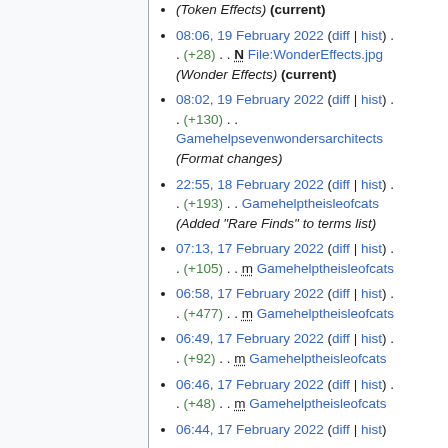(Token Effects) (current)
08:06, 19 February 2022 (diff | hist) . . (+28) . . N File:WonderEffects.jpg (Wonder Effects) (current)
08:02, 19 February 2022 (diff | hist) . . (+130) . . Gamehelpsevenwondersarchitects (Format changes)
22:55, 18 February 2022 (diff | hist) . . (+193) . . Gamehelptheisleofcats (Added "Rare Finds" to terms list)
07:13, 17 February 2022 (diff | hist) . . (+105) . . m Gamehelptheisleofcats
06:58, 17 February 2022 (diff | hist) . . (+477) . . m Gamehelptheisleofcats
06:49, 17 February 2022 (diff | hist) . . (+92) . . m Gamehelptheisleofcats
06:46, 17 February 2022 (diff | hist) . . (+48) . . m Gamehelptheisleofcats
06:44, 17 February 2022 (diff | hist)